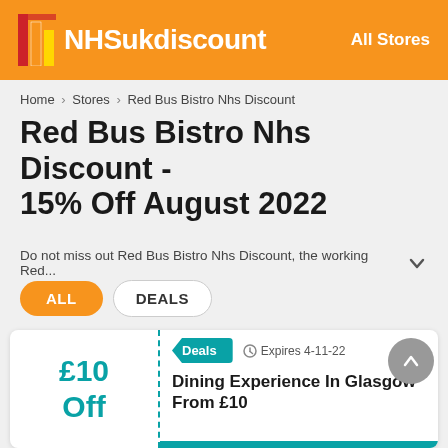NHSukdiscount   All Stores
Home > Stores > Red Bus Bistro Nhs Discount
Red Bus Bistro Nhs Discount - 15% Off August 2022
Do not miss out Red Bus Bistro Nhs Discount, the working Red...
ALL
DEALS
Deals   Expires 4-11-22
£10 Off
Dining Experience In Glasgow From £10